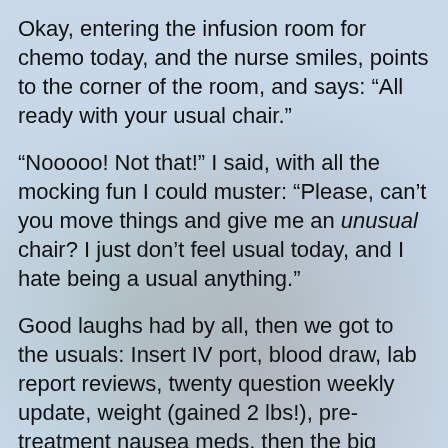Okay, entering the infusion room for chemo today, and the nurse smiles, points to the corner of the room, and says: “All ready with your usual chair.”
“Nooooo! Not that!” I said, with all the mocking fun I could muster: “Please, can’t you move things and give me an unusual chair? I just don’t feel usual today, and I hate being a usual anything.”
Good laughs had by all, then we got to the usuals: Insert IV port, blood draw, lab report reviews, twenty question weekly update, weight (gained 2 lbs!), pre-treatment nausea meds, then the big chemo guns, and later the best and most unusual hospital cheeseburger I’ve ever had. Food eaten during infusion, for some reason, is particularly satiating.
Later, on to my irradiation. New development (not permanent and not unexpected) as an itchy diffuse